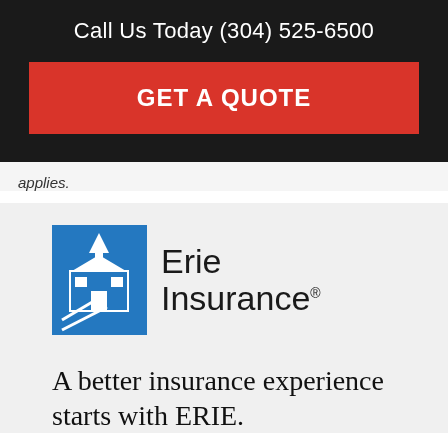Call Us Today (304) 525-6500
GET A QUOTE
applies.
[Figure (logo): Erie Insurance logo with blue building icon and black text reading 'Erie Insurance' with registered trademark symbol]
A better insurance experience starts with ERIE.